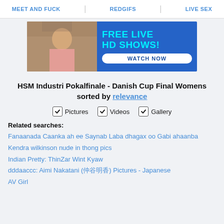MEET AND FUCK | REDGIFS | LIVE SEX
[Figure (photo): Advertisement banner with photo of woman and text FREE LIVE HD SHOWS! WATCH NOW]
HSM Industri Pokalfinale - Danish Cup Final Womens sorted by relevance
✓ Pictures  ✓ Videos  ✓ Gallery
Related searches:
Fanaanada Caanka ah ee Saynab Laba dhagax oo Gabi ahaanba
Kendra wilkinson nude in thong pics
Indian Pretty: ThinZar Wint Kyaw
dddaaccc: Aimi Nakatani (仲谷明香) Pictures - Japanese AV Girl